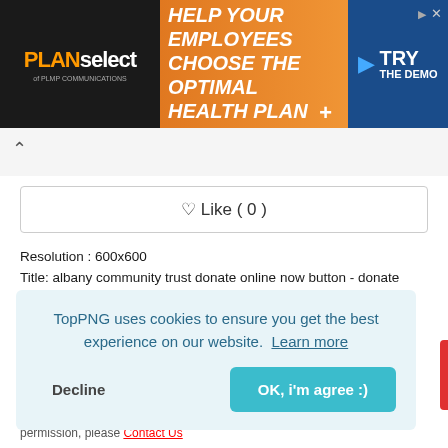[Figure (screenshot): PLANselect advertisement banner: orange and dark background with text 'HELP YOUR EMPLOYEES CHOOSE THE OPTIMAL HEALTH PLAN' and blue 'TRY THE DEMO' button on the right]
♡ Like ( 0 )
Resolution : 600x600
Title: albany community trust donate online now button - donate button animated PNG image with transparent background
Category : PNG
Photo type : PNG
TopPNG uses cookies to ensure you get the best experience on our website.  Learn more
Decline
OK, i'm agree :)
are the author and find this file is shared without your
permission, please Contact Us